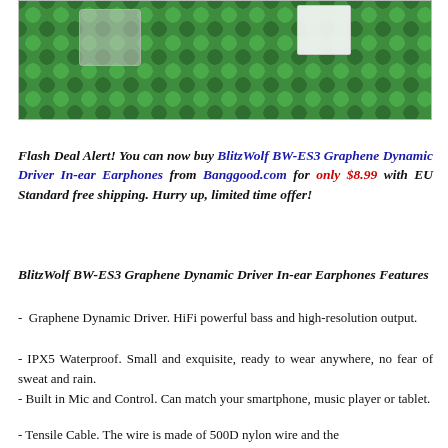[Figure (photo): Photo of earphones in a plastic bag placed on a green LEGO baseplate, with a small white card/label visible in the upper right area.]
Flash Deal Alert! You can now buy BlitzWolf BW-ES3 Graphene Dynamic Driver In-ear Earphones from Banggood.com for only $8.99 with EU Standard free shipping. Hurry up, limited time offer!
BlitzWolf BW-ES3 Graphene Dynamic Driver In-ear Earphones Features
- Graphene Dynamic Driver. HiFi powerful bass and high-resolution output.
- IPX5 Waterproof. Small and exquisite, ready to wear anywhere, no fear of sweat and rain.
- Built in Mic and Control. Can match your smartphone, music player or tablet.
- Tensile Cable. The wire is made of 500D nylon wire and the ...